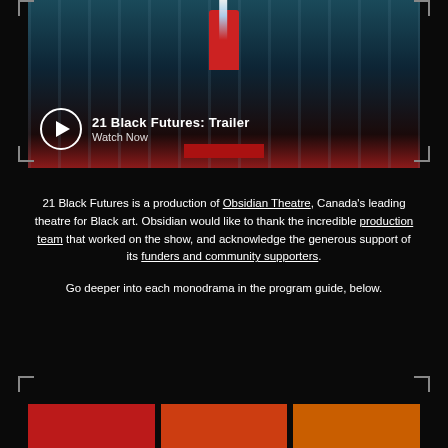[Figure (screenshot): Video thumbnail showing a figure in a red hoodie standing on a red platform with white light beams, in a dark blue-teal environment with vertical panels. Overlay shows play button icon with title '21 Black Futures: Trailer' and text 'Watch Now'.]
21 Black Futures is a production of Obsidian Theatre, Canada's leading theatre for Black art. Obsidian would like to thank the incredible production team that worked on the show, and acknowledge the generous support of its funders and community supporters.
Go deeper into each monodrama in the program guide, below.
[Figure (screenshot): Bottom row of three thumbnail images partially visible, showing red, orange-red, and amber colored card backgrounds.]